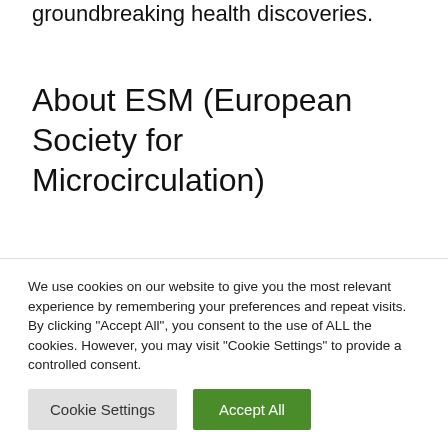groundbreaking health discoveries.
About ESM (European Society for Microcirculation)
The European Society for Microcirculation was founded in
We use cookies on our website to give you the most relevant experience by remembering your preferences and repeat visits. By clicking "Accept All", you consent to the use of ALL the cookies. However, you may visit "Cookie Settings" to provide a controlled consent.